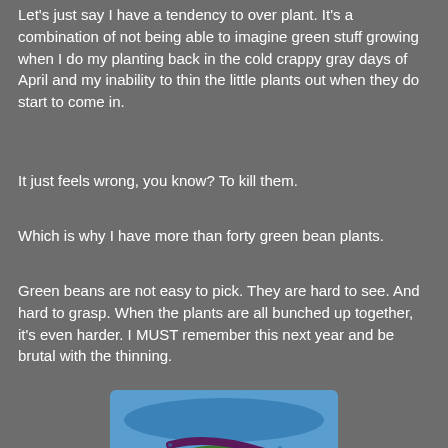Let's just say I have a tendency to over plant. It's a combination of not being able to imagine green stuff growing when I do my planting back in the cold crappy gray days of April and my inability to thin the little plants out when they do start to come in.
It just feels wrong, you know? To kill them.
Which is why I have more than forty green bean plants.
Green beans are not easy to pick. They are hard to see. And hard to grasp. When the plants are all bunched up together, it's even harder. I MUST remember this next year and be brutal with the thinning.
[Figure (photo): A blue colander/basket filled with green beans and a few cherry tomatoes, with a long dark purple bean draped across the top.]